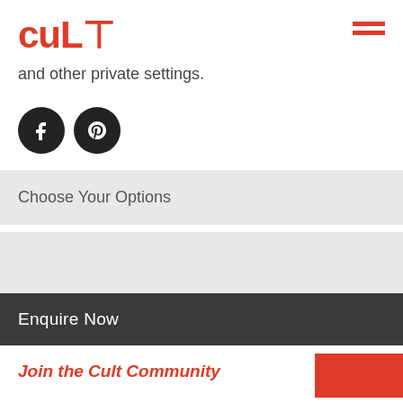CULT (logo) and hamburger menu
and other private settings.
[Figure (illustration): Two circular social media icons: Facebook (f) and Pinterest (p), both dark/black circles with white icons]
Choose Your Options
Enquire Now
Join the Cult Community
Specifications